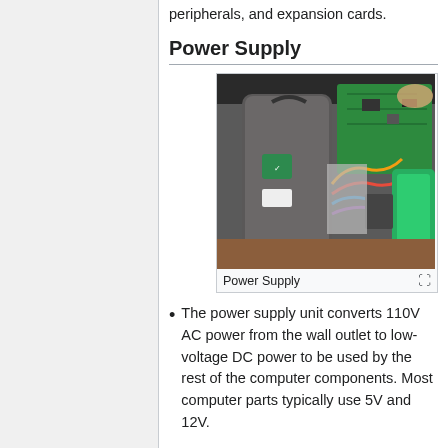peripherals, and expansion cards.
Power Supply
[Figure (photo): Photograph of a power supply unit being removed from a computer case, showing internal components including circuit boards and colorful wiring.]
Power Supply
The power supply unit converts 110V AC power from the wall outlet to low-voltage DC power to be used by the rest of the computer components. Most computer parts typically use 5V and 12V.
Network card